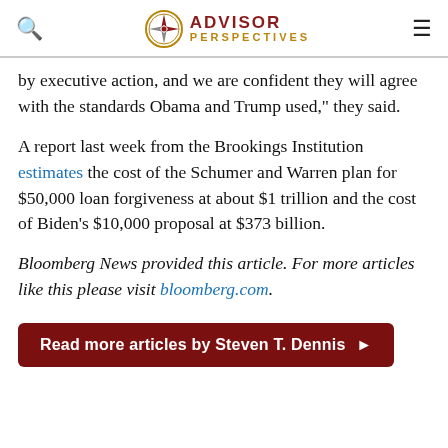ADVISOR PERSPECTIVES
by executive action, and we are confident they will agree with the standards Obama and Trump used," they said.
A report last week from the Brookings Institution estimates the cost of the Schumer and Warren plan for $50,000 loan forgiveness at about $1 trillion and the cost of Biden's $10,000 proposal at $373 billion.
Bloomberg News provided this article. For more articles like this please visit bloomberg.com.
Read more articles by Steven T. Dennis ▶